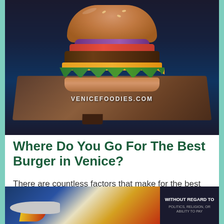[Figure (photo): A gourmet burger with sesame seed bun, lettuce, cheese, tomato, and red onion on a wooden cutting board. Watermark reads VENICEFOODIES.COM]
Where Do You Go For The Best Burger in Venice?
There are countless factors that make for the best possible burger around for this
[Figure (screenshot): Advertisement banner showing airplanes with Southwest Airlines branding and text WITHOUT REGARD TO POLITICS, RELIGION, OR ABILITY TO PAY]